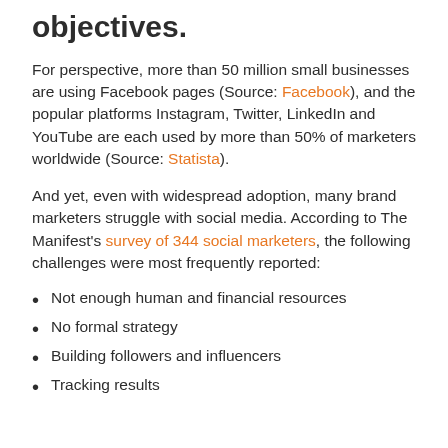objectives.
For perspective, more than 50 million small businesses are using Facebook pages (Source: Facebook), and the popular platforms Instagram, Twitter, LinkedIn and YouTube are each used by more than 50% of marketers worldwide (Source: Statista).
And yet, even with widespread adoption, many brand marketers struggle with social media. According to The Manifest's survey of 344 social marketers, the following challenges were most frequently reported:
Not enough human and financial resources
No formal strategy
Building followers and influencers
Tracking results